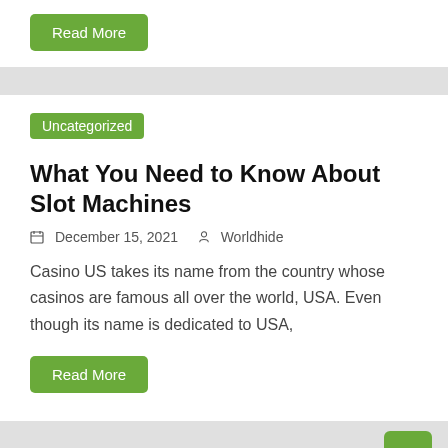Read More
Uncategorized
What You Need to Know About Slot Machines
December 15, 2021   Worldhide
Casino US takes its name from the country whose casinos are famous all over the world, USA. Even though its name is dedicated to USA,
Read More
↑
Uncategorized